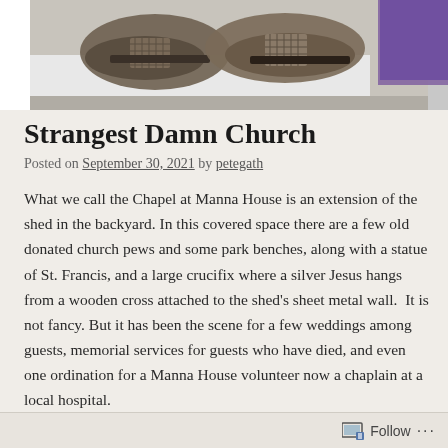[Figure (photo): Partial photo showing what appears to be old worn shoes or boots on a white surface, with a purple background visible at upper right edge]
Strangest Damn Church
Posted on September 30, 2021 by petegath
What we call the Chapel at Manna House is an extension of the shed in the backyard. In this covered space there are a few old donated church pews and some park benches, along with a statue of St. Francis, and a large crucifix where a silver Jesus hangs from a wooden cross attached to the shed's sheet metal wall.  It is not fancy. But it has been the scene for a few weddings among guests, memorial services for guests who have died, and even one ordination for a Manna House volunteer now a chaplain at a local hospital.
In COVID times, since we cannot crowd into the house, guests gather in the backyard, even when it rains. We make do with picnic table umbrellas, a red tent, and the Chapel, as places where the
Follow